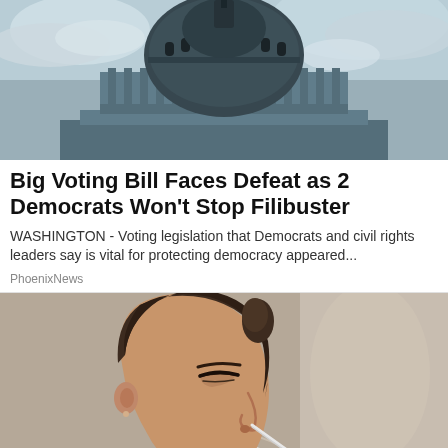[Figure (photo): Aerial/low-angle view of the US Capitol building dome against a cloudy sky]
Big Voting Bill Faces Defeat as 2 Democrats Won't Stop Filibuster
WASHINGTON -  Voting legislation that Democrats and civil rights leaders say is vital for protecting democracy appeared...
PhoenixNews
[Figure (photo): Close-up side profile of a woman with a nasal irrigation or medical device inserted in her nose, eyes closed, slight smile]